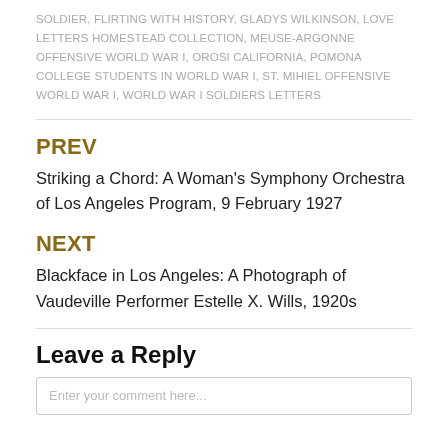SOLDIER, FLIRTING WITH HISTORY, GLADYS WILKINSON, LOVE LETTERS HOMESTEAD COLLECTION, MEUSE-ARGONNE OFFENSIVE WORLD WAR I, OROSI CALIFORNIA, POMONA COLLEGE STUDENTS IN WORLD WAR I, ST. MIHIEL OFFENSIVE WORLD WAR I, WORLD WAR I SOLDIERS LETTERS
PREV
Striking a Chord: A Woman’s Symphony Orchestra of Los Angeles Program, 9 February 1927
NEXT
Blackface in Los Angeles: A Photograph of Vaudeville Performer Estelle X. Wills, 1920s
Leave a Reply
Enter your comment here...